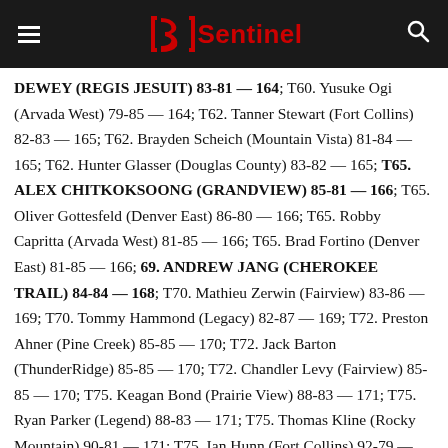Sentinel
DEWEY (REGIS JESUIT) 83-81 — 164; T60. Yusuke Ogi (Arvada West) 79-85 — 164; T62. Tanner Stewart (Fort Collins) 82-83 — 165; T62. Brayden Scheich (Mountain Vista) 81-84 — 165; T62. Hunter Glasser (Douglas County) 83-82 — 165; T65. ALEX CHITKOKSOONG (GRANDVIEW) 85-81 — 166; T65. Oliver Gottesfeld (Denver East) 86-80 — 166; T65. Robby Capritta (Arvada West) 81-85 — 166; T65. Brad Fortino (Denver East) 81-85 — 166; 69. ANDREW JANG (CHEROKEE TRAIL) 84-84 — 168; T70. Mathieu Zerwin (Fairview) 83-86 — 169; T70. Tommy Hammond (Legacy) 82-87 — 169; T72. Preston Ahner (Pine Creek) 85-85 — 170; T72. Jack Barton (ThunderRidge) 85-85 — 170; T72. Chandler Levy (Fairview) 85-85 — 170; T75. Keagan Bond (Prairie View) 88-83 — 171; T75. Ryan Parker (Legend) 88-83 — 171; T75. Thomas Kline (Rocky Mountain) 90-81 — 171; T75. Ian Hunn (Fort Collins) 92-79 — 171; 79. Nathan